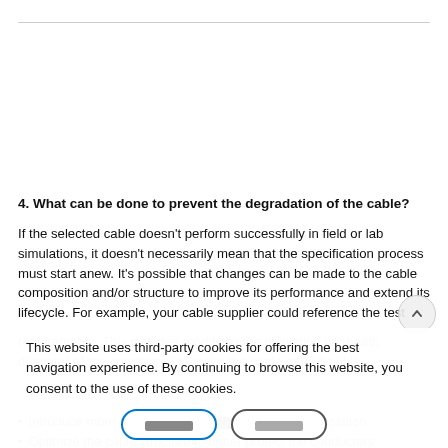4. What can be done to prevent the degradation of the cable?
If the selected cable doesn't perform successfully in field or lab simulations, it doesn't necessarily mean that the specification process must start anew. It's possible that changes can be made to the cable composition and/or structure to improve its performance and extend its lifecycle. For example, your cable supplier could reference the test requirements...
This website uses third-party cookies for offering the best navigation experience. By continuing to browse this website, you consent to the use of these cookies.
Introduce more flexibility as in cable composition
Optimize the cable structure to better protect the conductors